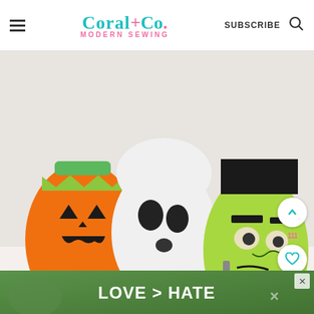Coral+Co. MODERN SEWING  SUBSCRIBE
[Figure (photo): Halloween trick-or-treat bags shaped as a pumpkin (orange with jack-o-lantern face), a ghost (white with black face), and Frankenstein (green with black details), surrounded by red candy wrappers on a light surface.]
PHOTO CREDIT: www.5littlemonsters.com
DIY TRICK OR TREAT BAGS: PUMPKIN, GHOST,